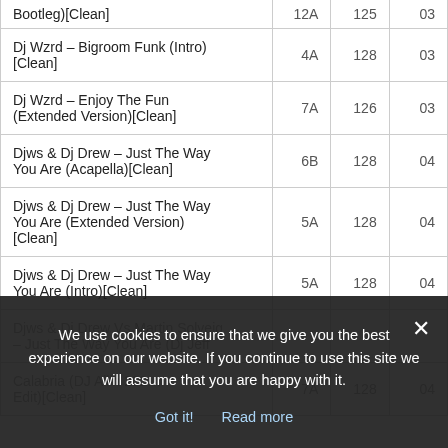| Title | Key | BPM | Min |
| --- | --- | --- | --- |
| Bootleg)[Clean] | 12A | 125 | 03 |
| Dj Wzrd – Bigroom Funk (Intro) [Clean] | 4A | 128 | 03 |
| Dj Wzrd – Enjoy The Fun (Extended Version)[Clean] | 7A | 126 | 03 |
| Djws & Dj Drew – Just The Way You Are (Acapella)[Clean] | 6B | 128 | 04 |
| Djws & Dj Drew – Just The Way You Are (Extended Version)[Clean] | 5A | 128 | 04 |
| Djws & Dj Drew – Just The Way You Are (Intro)[Clean] | 5A | 128 | 04 |
| Djws & Dj Drew Vs Martin Solveig – Just The Way You Are (Dj Jeff … |  |  |  |
| Calabria (DJ Allin 202… Edit)[Clean] | 7A | 128 | 04 |
We use cookies to ensure that we give you the best experience on our website. If you continue to use this site we will assume that you are happy with it.